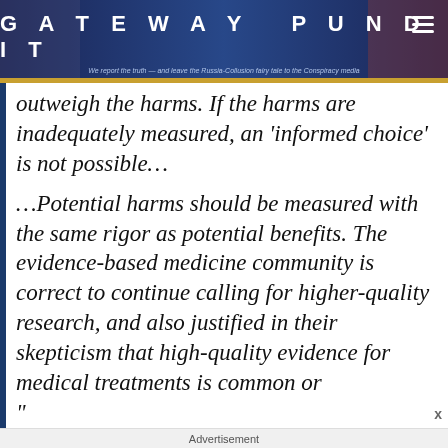GATEWAY PUNDIT — We report the truth — and leave the Russia-Collusion fairy tale to the Conspiracy media
outweigh the harms. If the harms are inadequately measured, an 'informed choice' is not possible… …Potential harms should be measured with the same rigor as potential benefits. The evidence-based medicine community is correct to continue calling for higher-quality research, and also justified in their skepticism that high-quality evidence for medical treatments is common or
Advertisement
6 Secret Origin Stories Of Modern Mouth-Watering Meal
Brainberries